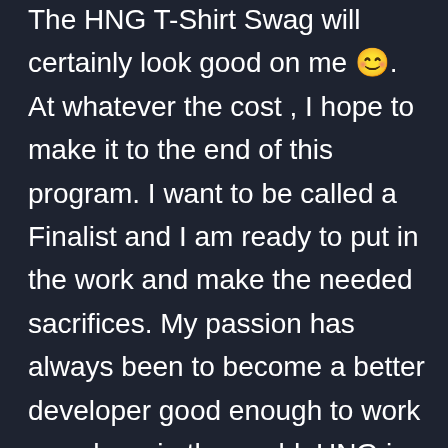The HNG T-Shirt Swag will certainly look good on me 😊. At whatever the cost , I hope to make it to the end of this program. I want to be called a Finalist and I am ready to put in the work and make the needed sacrifices. My passion has always been to become a better developer good enough to work anywhere in the world, HNG is just what I need. With HNG, I would be pushed out of my comfort zone and tested on 'arid grounds', the journey would be hard and very demanding but I hope to emerge victorious in the end. In preparation of what is to come , I decided to sharpen my frontend skills by taking the courses listed below